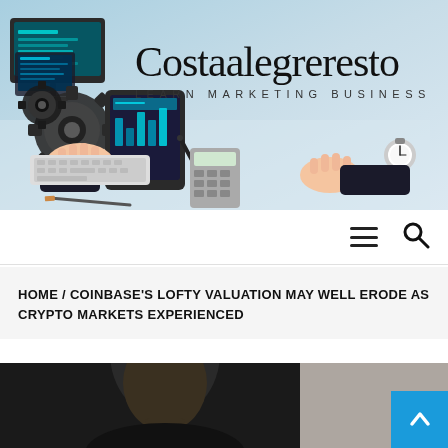[Figure (illustration): Website header banner showing illustration of person at desk with computer monitors, tablet, calculator, gears, and business/marketing imagery. Logo 'Costaalegreresto' with tagline 'LEARN MARKETING BUSINESS' overlaid on banner.]
Costaalegreresto — LEARN MARKETING BUSINESS
[Figure (infographic): Navigation bar with hamburger menu icon (three horizontal lines) and search icon (magnifying glass)]
HOME / COINBASE'S LOFTY VALUATION MAY WELL ERODE AS CRYPTO MARKETS EXPERIENCED
[Figure (photo): Partial photo of a bald man, bottom portion of page, dark background]